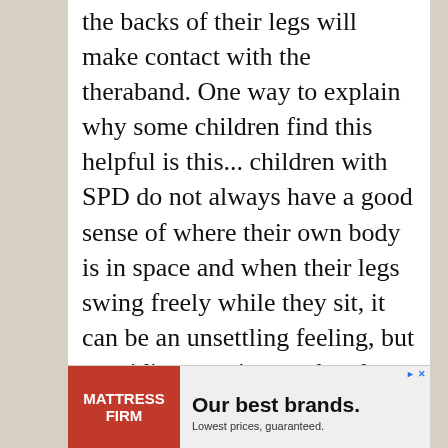the backs of their legs will make contact with the theraband. One way to explain why some children find this helpful is this... children with SPD do not always have a good sense of where their own body is in space and when their legs swing freely while they sit, it can be an unsettling feeling, but providing a resistance band on the legs of the chair gives them feedback and lets them know where they are in relation to the chair and to the room around them.

Other suggestions include things such as bean bag chairs or swivel chairs, though I don't
[Figure (other): Advertisement banner for Mattress Firm showing red logo area with 'MATTRESS FIRM' text and main area with 'Our best brands. Lowest prices, guaranteed.' tagline, with play and close controls.]